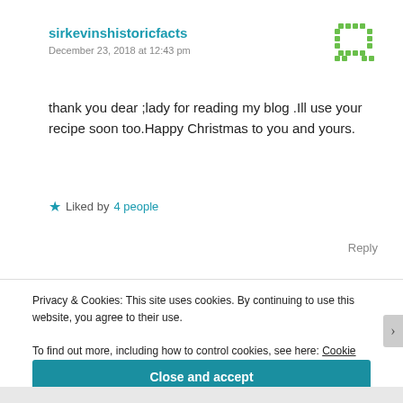sirkevinshistoricfacts
December 23, 2018 at 12:43 pm
thank you dear ;lady for reading my blog .Ill use your recipe soon too.Happy Christmas to you and yours.
Liked by 4 people
Reply
Privacy & Cookies: This site uses cookies. By continuing to use this website, you agree to their use.
To find out more, including how to control cookies, see here: Cookie Policy
Close and accept